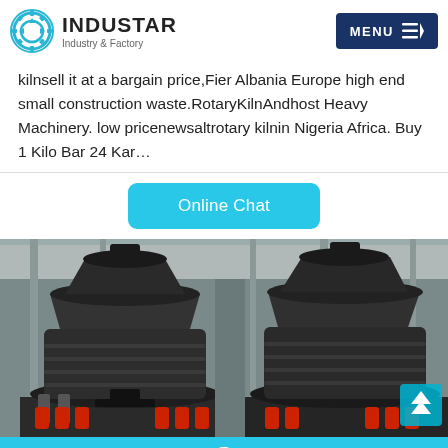INDUSTAR Industry & Factory
kilnsell it at a bargain price,Fier Albania Europe high end small construction waste.RotaryKilnAndhost Heavy Machinery. low pricenewsaltrotary kilnin Nigeria Africa. Buy 1 Kilo Bar 24 Kar...
[Figure (screenshot): Online Chat button (cyan/teal rounded rectangle)]
[Figure (photo): Two large industrial cone crusher machines in a factory/warehouse setting, dark gray metal with red hydraulic components at the base]
Email   OnlineChat   Message